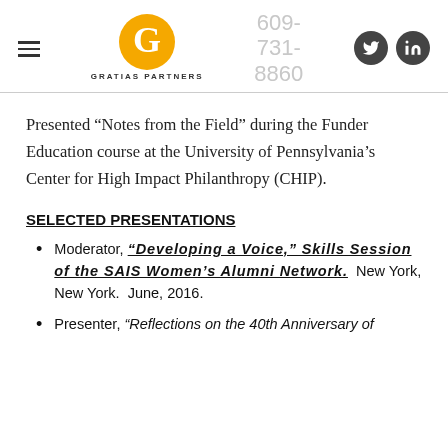609-731-8860 | GRATIAS PARTNERS
Presented “Notes from the Field” during the Funder Education course at the University of Pennsylvania’s Center for High Impact Philanthropy (CHIP).
SELECTED PRESENTATIONS
Moderator, “Developing a Voice,” Skills Session of the SAIS Women’s Alumni Network. New York, New York. June, 2016.
Presenter, “Reflections on the 40th Anniversary of